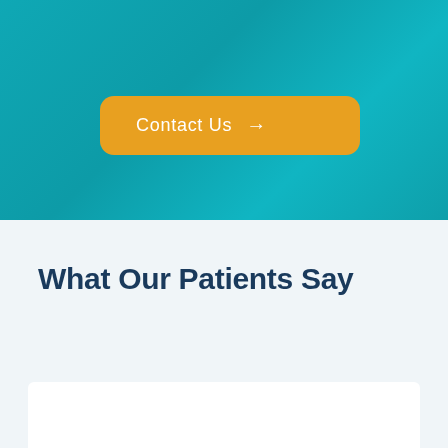[Figure (screenshot): Teal/turquoise background header section of a medical website]
Contact Us →
What Our Patients Say
See All Reviews →
The whole office staff is amazing! They go out of their way to make sure that I am comfortable and at